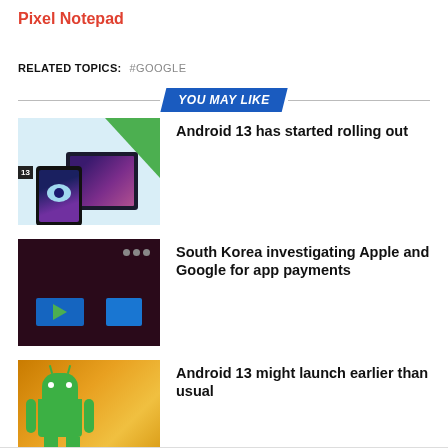Pixel Notepad
RELATED TOPICS: #GOOGLE
YOU MAY LIKE
[Figure (photo): Android 13 promotional image with device mockups on light blue background]
Android 13 has started rolling out
[Figure (photo): Dark TV interface screen showing Google Play Store app]
South Korea investigating Apple and Google for app payments
[Figure (photo): Android robot figurine on golden bokeh background]
Android 13 might launch earlier than usual